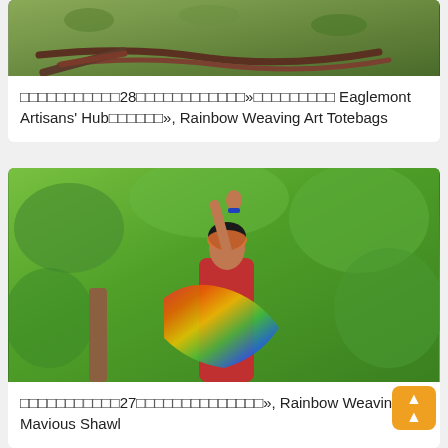[Figure (photo): Photo of green outdoor scene with brown strap/bag items on grass]
□□□□□□□□□□□28□□□□□□□□□□□□»□□□□□□□□□ Eaglemont Artisans' Hub□□□□□□», Rainbow Weaving Art Totebags
[Figure (photo): Photo of a woman wearing a colorful rainbow shawl and red dress, with arm raised, outdoors among green trees]
□□□□□□□□□□□27□□□□□□□□□□□□□□», Rainbow Weaving Art Mavious Shawl